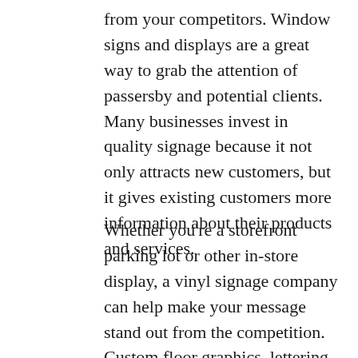from your competitors. Window signs and displays are a great way to grab the attention of passersby and potential clients. Many businesses invest in quality signage because it not only attracts new customers, but it gives existing customers more information about their products and services.
Whether you're a storefront parking lot or other in-store display, a vinyl signage company can help make your message stand out from the competition. Custom floor graphics, lettering, signage, banners and signs can attract new customers and build customer loyalty by providing details and attention-grabbing designs. These displays are attractive and easy to maintain. Your staff can update signs and graphics without a lot